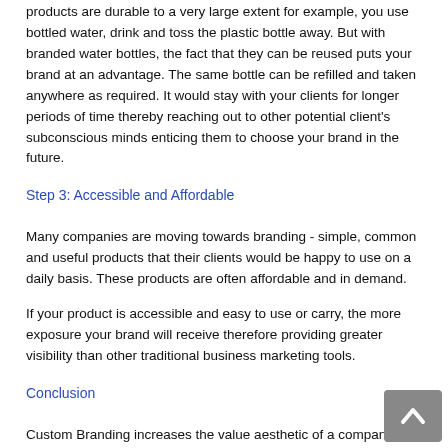products are durable to a very large extent for example, you use bottled water, drink and toss the plastic bottle away. But with branded water bottles, the fact that they can be reused puts your brand at an advantage. The same bottle can be refilled and taken anywhere as required. It would stay with your clients for longer periods of time thereby reaching out to other potential client's subconscious minds enticing them to choose your brand in the future.
Step 3: Accessible and Affordable
Many companies are moving towards branding - simple, common and useful products that their clients would be happy to use on a daily basis. These products are often affordable and in demand.
If your product is accessible and easy to use or carry, the more exposure your brand will receive therefore providing greater visibility than other traditional business marketing tools.
Conclusion
Custom Branding increases the value aesthetic of a company and